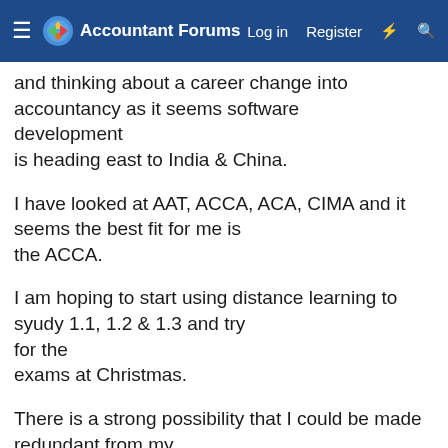Accountant Forums  Log in  Register
and thinking about a career change into accountancy as it seems software development is heading east to India & China.
I have looked at AAT, ACCA, ACA, CIMA and it seems the best fit for me is the ACCA.
I am hoping to start using distance learning to syudy 1.1, 1.2 & 1.3 and try for the exams at Christmas.
There is a strong possibility that I could be made redundant from my Software job at Christmas (ho ho ho).
My questins are :